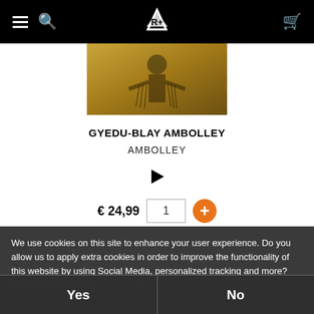Navigation bar with hamburger menu, search icon, logo, and cart icon
[Figure (photo): Product album cover image showing a figure with fringed clothing against a golden/warm background]
GYEDU-BLAY AMBOLLEY
AMBOLLEY
[Figure (other): Play button triangle icon]
€ 24,99  1  +
We use cookies on this site to enhance your user experience. Do you allow us to apply extra cookies in order to improve the functionality of this website by using Social Media, personalized tracking and more? Read more about our Privacy Policy.
Yes
No